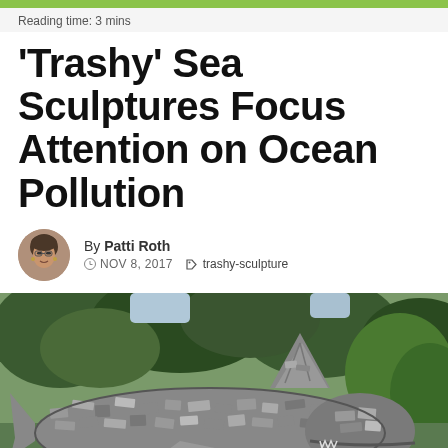Reading time: 3 mins
'Trashy' Sea Sculptures Focus Attention on Ocean Pollution
By Patti Roth  NOV 8, 2017  trashy-sculpture
[Figure (photo): Large fish/shark sculpture made from discarded trash and plastic debris, displayed outdoors with trees and foliage in background]